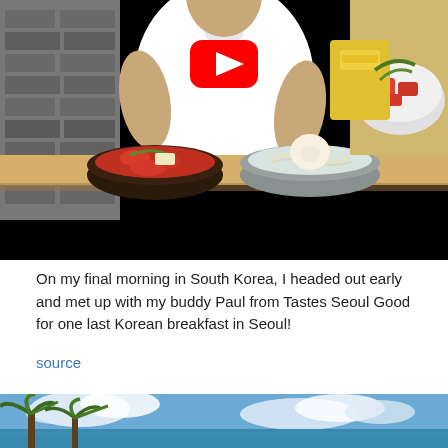[Figure (photo): YouTube thumbnail showing a man in a white t-shirt with YouTube logo overlay, sitting in front of Korean food bowls (kimchi stew and cold noodle soup), with Korean side dishes visible in the background. Black bar at bottom.]
On my final morning in South Korea, I headed out early and met up with my buddy Paul from Tastes Seoul Good for one last Korean breakfast in Seoul!
source
[Figure (photo): Bottom portion of a photo showing a tropical beach scene with palm trees and blue sky with clouds.]